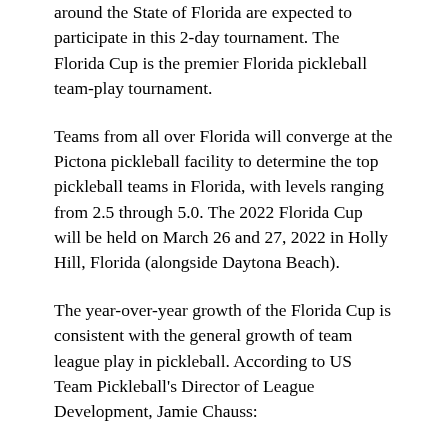around the State of Florida are expected to participate in this 2-day tournament. The Florida Cup is the premier Florida pickleball team-play tournament.
Teams from all over Florida will converge at the Pictona pickleball facility to determine the top pickleball teams in Florida, with levels ranging from 2.5 through 5.0. The 2022 Florida Cup will be held on March 26 and 27, 2022 in Holly Hill, Florida (alongside Daytona Beach).
The year-over-year growth of the Florida Cup is consistent with the general growth of team league play in pickleball. According to US Team Pickleball's Director of League Development, Jamie Chauss:
“Team league play is the fastest growing segment in the fastest growing sport in the United States. US Team Pickleball is proud to be a part of this growth.”